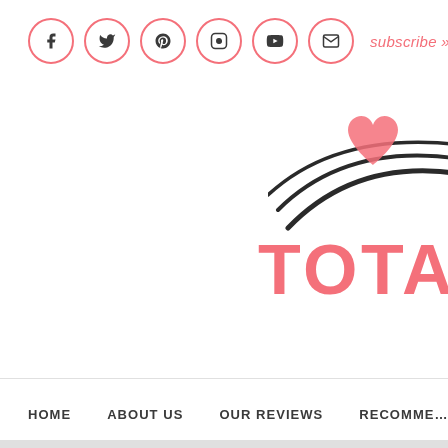Social media icons: Facebook, Twitter, Pinterest, Instagram, YouTube, Email. subscribe »
[Figure (logo): Partial logo with swooping black curved lines and pink heart shape, with large pink text 'TOTA' (truncated)]
HOME   ABOUT US   OUR REVIEWS   RECOMME...
SPEAK NO EVIL b...